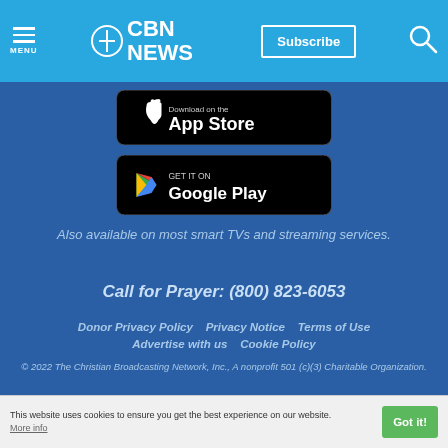CBN NEWS | MENU | Subscribe | Search
[Figure (screenshot): App Store download button (black rounded rectangle with Apple logo and 'Download on the App Store' text)]
[Figure (screenshot): Google Play download button (black rounded rectangle with Google Play logo and 'GET IT ON Google Play' text)]
Also available on most smart TVs and streaming services.
Call for Prayer: (800) 823-6053
Donor Privacy Policy   Privacy Notice   Terms of Use   Advertise with us   Cookie Policy
© 2022 The Christian Broadcasting Network, Inc., A nonprofit 501 (c)(3) Charitable Organization.
This website uses cookies to ensure you get the best experience on our website. More info   Got it!